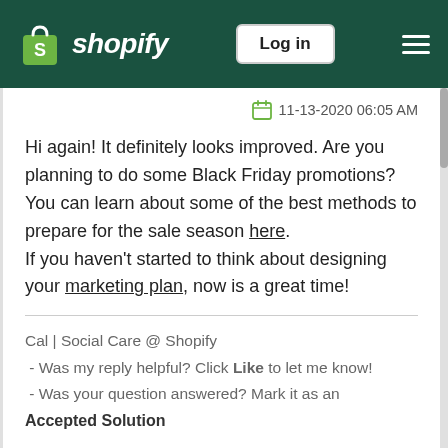shopify | Log in
11-13-2020 06:05 AM
Hi again! It definitely looks improved. Are you planning to do some Black Friday promotions? You can learn about some of the best methods to prepare for the sale season here.
If you haven't started to think about designing your marketing plan, now is a great time!
Cal | Social Care @ Shopify
 - Was my reply helpful? Click Like to let me know!
 - Was your question answered? Mark it as an Accepted Solution